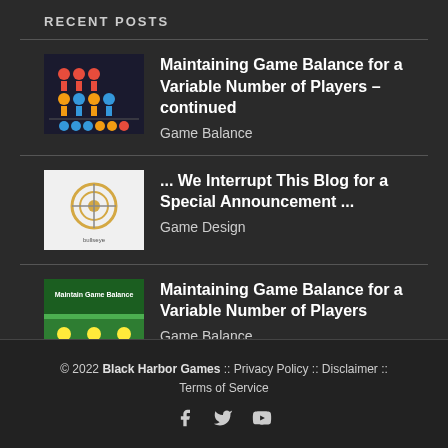RECENT POSTS
Maintaining Game Balance for a Variable Number of Players – continued
Game Balance
... We Interrupt This Blog for a Special Announcement ...
Game Design
Maintaining Game Balance for a Variable Number of Players
Game Balance
© 2022 Black Harbor Games :: Privacy Policy :: Disclaimer :: Terms of Service